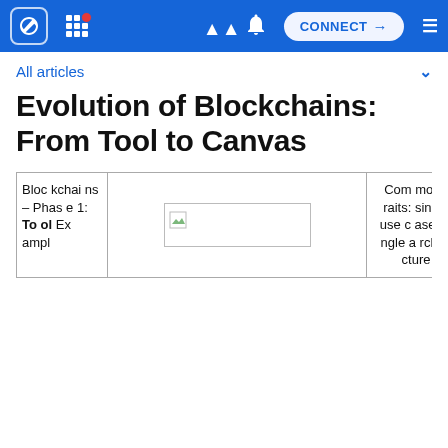CONNECT
All articles
Evolution of Blockchains: From Tool to Canvas
| Blockchains – Phase 1: Tool Examples |  | Common traits: single use case, single architecture |
| --- | --- | --- |
| Blockchains – Phase 1: Tool Examples | [image] | Common traits: single use case, single architecture |